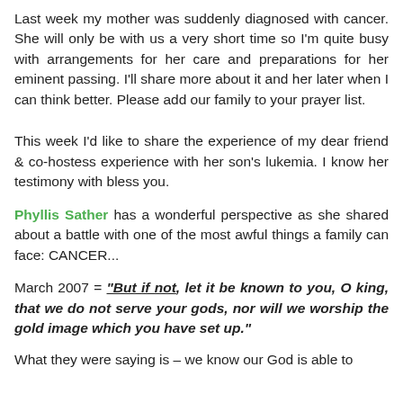Last week my mother was suddenly diagnosed with cancer. She will only be with us a very short time so I'm quite busy with arrangements for her care and preparations for her eminent passing. I'll share more about it and her later when I can think better. Please add our family to your prayer list.
This week I'd like to share the experience of my dear friend & co-hostess experience with her son's lukemia. I know her testimony with bless you.
Phyllis Sather has a wonderful perspective as she shared about a battle with one of the most awful things a family can face: CANCER...
March 2007 = "But if not, let it be known to you, O king, that we do not serve your gods, nor will we worship the gold image which you have set up."
What they were saying is – we know our God is able to